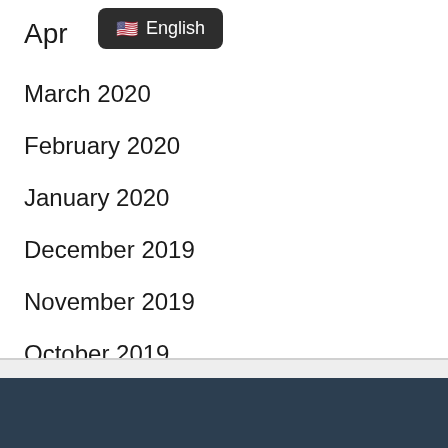Apr
[Figure (other): Language selector dropdown badge showing US flag emoji and 'English' text on dark background]
March 2020
February 2020
January 2020
December 2019
November 2019
October 2019
August 2019
Categories
Canada